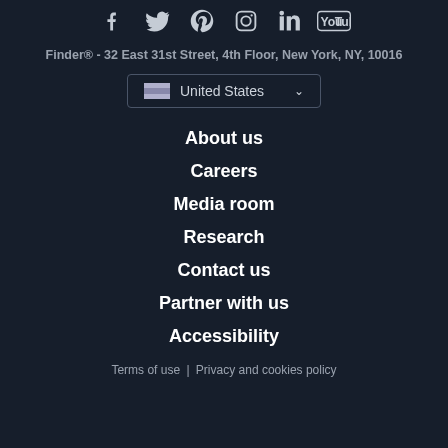[Figure (other): Social media icons row: Facebook, Twitter, Pinterest, Instagram, LinkedIn, YouTube]
Finder® -  32 East 31st Street, 4th Floor, New York, NY, 10016
[Figure (other): Country selector dropdown showing United States with flag icon]
About us
Careers
Media room
Research
Contact us
Partner with us
Accessibility
Terms of use  |  Privacy and cookies policy